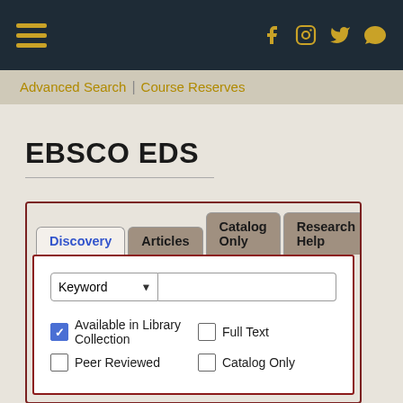[Figure (screenshot): Dark navy top navigation bar with gold hamburger menu icon on left and gold social media icons (Facebook, Instagram, Twitter, chat) on right]
Advanced Search | Course Reserves
EBSCO EDS
[Figure (screenshot): EBSCO EDS search widget with tabs: Discovery (active, blue text), Articles, Catalog Only, Research Help. Below tabs is a white search area with a Keyword dropdown and text input. Checkboxes: Available in Library Collection (checked), Peer Reviewed (unchecked), Full Text (unchecked), Catalog Only (unchecked).]